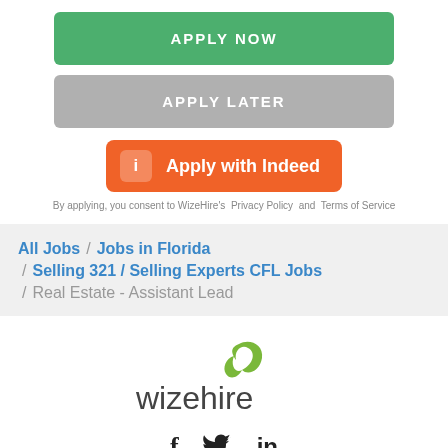[Figure (other): Green 'APPLY NOW' button]
[Figure (other): Gray 'APPLY LATER' button]
[Figure (other): Orange 'Apply with Indeed' button with Indeed logo icon]
By applying, you consent to WizeHire's  Privacy Policy  and  Terms of Service
All Jobs / Jobs in Florida
/ Selling 321 / Selling Experts CFL Jobs
/ Real Estate - Assistant Lead
[Figure (logo): WizeHire logo with green leaf/bird icon and 'wizehire' text]
[Figure (other): Social media icons: Facebook, Twitter, LinkedIn]